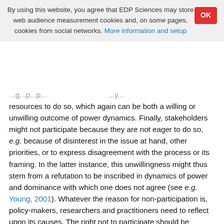By using this website, you agree that EDP Sciences may store web audience measurement cookies and, on some pages, cookies from social networks. More information and setup
resources to do so, which again can be both a willing or unwilling outcome of power dynamics. Finally, stakeholders might not participate because they are not eager to do so, e.g. because of disinterest in the issue at hand, other priorities, or to express disagreement with the process or its framing. In the latter instance, this unwillingness might thus stem from a refutation to be inscribed in dynamics of power and dominance with which one does not agree (see e.g. Young, 2001). Whatever the reason for non-participation is, policy-makers, researchers and practitioners need to reflect upon its causes. The right not to participate should be acknowledged, but the intended exclusion of stakeholders in processes which (could) affect them is of course not desirable. To the extent possible, different ways for moving "in" and "out" of